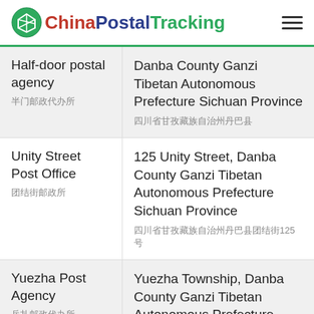ChinaPostalTracking
| Office Name | Address |
| --- | --- |
| Half-door postal agency / 半门邮政代办所 | Danba County Ganzi Tibetan Autonomous Prefecture Sichuan Province / 四川省甘孜藏族自治州丹巴县 |
| Unity Street Post Office / 团结街邮政所 | 125 Unity Street, Danba County Ganzi Tibetan Autonomous Prefecture Sichuan Province / 四川省甘孜藏族自治州丹巴县团结街125号 |
| Yuezha Post Agency / 岳扎邮政代办所 | Yuezha Township, Danba County Ganzi Tibetan Autonomous Prefecture Sichuan Province / 四川省甘孜藏族自治州丹巴县岳扎乡 |